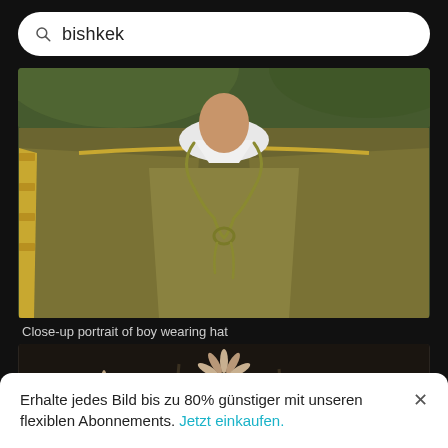bishkek
[Figure (photo): Close-up portrait of boy wearing traditional hat and olive/gold cape with ornate trim and rope tie]
Close-up portrait of boy wearing hat
[Figure (photo): Close-up of spiky flowering plants with purple/brown buds and small orange flowers on dark background]
Erhalte jedes Bild bis zu 80% günstiger mit unseren flexiblen Abonnements. Jetzt einkaufen.